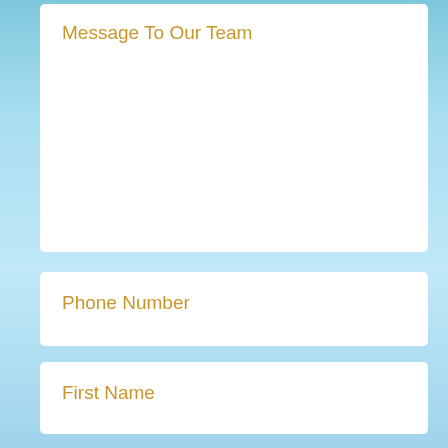Message To Our Team
Phone Number
First Name
Last Name
Email Address